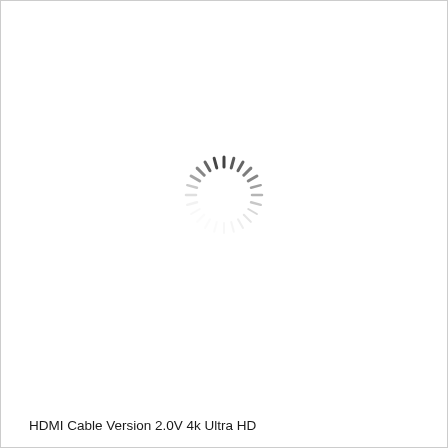[Figure (other): A loading spinner (circular dashed progress indicator) centered on the page, with dark segments on the left/top and lighter fading segments on the right, indicating a loading state. A partial spinner circle is also visible in the bottom-right corner of the page.]
HDMI Cable Version 2.0V 4k Ultra HD